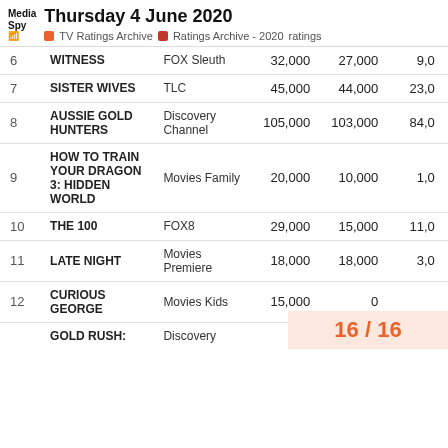Thursday 4 June 2020 — TV Ratings Archive | Ratings Archive - 2020 ratings
| # | Show | Channel | Col1 | Col2 | Col3 |
| --- | --- | --- | --- | --- | --- |
| 6 | WITNESS | FOX Sleuth | 32,000 | 27,000 | 9,0… |
| 7 | SISTER WIVES | TLC | 45,000 | 44,000 | 23,0… |
| 8 | AUSSIE GOLD HUNTERS | Discovery Channel | 105,000 | 103,000 | 84,0… |
| 9 | HOW TO TRAIN YOUR DRAGON 3: HIDDEN WORLD | Movies Family | 20,000 | 10,000 | 1,0… |
| 10 | THE 100 | FOX8 | 29,000 | 15,000 | 11,0… |
| 11 | LATE NIGHT | Movies Premiere | 18,000 | 18,000 | 3,0… |
| 12 | CURIOUS GEORGE | Movies Kids | 15,000 | 0 |  |
|  | GOLD RUSH: | Discovery |  |  |  |